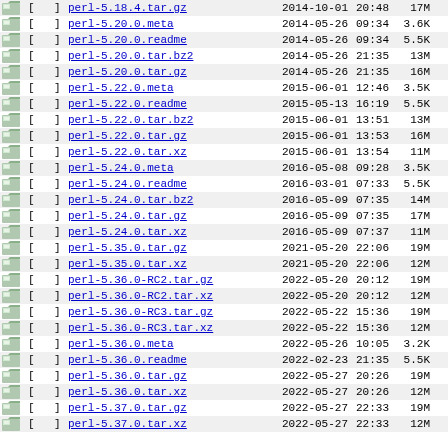| Icon | [ |   | ] | Name | Date | Time | Size |  |
| --- | --- | --- | --- | --- | --- | --- | --- | --- |
| [img] | [ |   | ] | perl-5.18.4.tar.gz | 2014-10-01 | 20:48 | 17M |  |
| [img] | [ |   | ] | perl-5.20.0.meta | 2014-05-26 | 09:34 | 3.6K |  |
| [img] | [ |   | ] | perl-5.20.0.readme | 2014-05-26 | 09:34 | 5.5K |  |
| [img] | [ |   | ] | perl-5.20.0.tar.bz2 | 2014-05-26 | 21:35 | 13M |  |
| [img] | [ |   | ] | perl-5.20.0.tar.gz | 2014-05-26 | 21:35 | 16M |  |
| [img] | [ |   | ] | perl-5.22.0.meta | 2015-06-01 | 12:46 | 3.5K |  |
| [img] | [ |   | ] | perl-5.22.0.readme | 2015-05-13 | 16:19 | 5.5K |  |
| [img] | [ |   | ] | perl-5.22.0.tar.bz2 | 2015-06-01 | 13:51 | 13M |  |
| [img] | [ |   | ] | perl-5.22.0.tar.gz | 2015-06-01 | 13:53 | 16M |  |
| [img] | [ |   | ] | perl-5.22.0.tar.xz | 2015-06-01 | 13:54 | 11M |  |
| [img] | [ |   | ] | perl-5.24.0.meta | 2016-05-08 | 09:28 | 3.5K |  |
| [img] | [ |   | ] | perl-5.24.0.readme | 2016-03-01 | 07:33 | 5.5K |  |
| [img] | [ |   | ] | perl-5.24.0.tar.bz2 | 2016-05-09 | 07:35 | 14M |  |
| [img] | [ |   | ] | perl-5.24.0.tar.gz | 2016-05-09 | 07:35 | 17M |  |
| [img] | [ |   | ] | perl-5.24.0.tar.xz | 2016-05-09 | 07:37 | 11M |  |
| [img] | [ |   | ] | perl-5.35.0.tar.gz | 2021-05-20 | 22:06 | 19M |  |
| [img] | [ |   | ] | perl-5.35.0.tar.xz | 2021-05-20 | 22:06 | 12M |  |
| [img] | [ |   | ] | perl-5.36.0-RC2.tar.gz | 2022-05-20 | 20:12 | 19M |  |
| [img] | [ |   | ] | perl-5.36.0-RC2.tar.xz | 2022-05-20 | 20:12 | 12M |  |
| [img] | [ |   | ] | perl-5.36.0-RC3.tar.gz | 2022-05-22 | 15:36 | 19M |  |
| [img] | [ |   | ] | perl-5.36.0-RC3.tar.xz | 2022-05-22 | 15:36 | 12M |  |
| [img] | [ |   | ] | perl-5.36.0.meta | 2022-05-26 | 10:05 | 3.2K |  |
| [img] | [ |   | ] | perl-5.36.0.readme | 2022-02-23 | 21:35 | 5.5K |  |
| [img] | [ |   | ] | perl-5.36.0.tar.gz | 2022-05-27 | 20:26 | 19M |  |
| [img] | [ |   | ] | perl-5.36.0.tar.xz | 2022-05-27 | 20:26 | 12M |  |
| [img] | [ |   | ] | perl-5.37.0.tar.gz | 2022-05-27 | 22:33 | 19M |  |
| [img] | [ |   | ] | perl-5.37.0.tar.xz | 2022-05-27 | 22:33 | 12M |  |